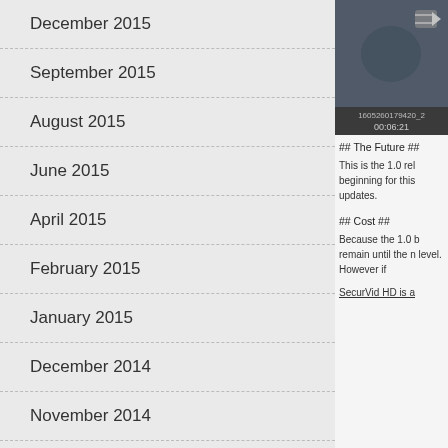December 2015
September 2015
August 2015
June 2015
April 2015
February 2015
January 2015
December 2014
November 2014
October 2014
June 2014
February 2014
January 2014
December 2013
[Figure (screenshot): Video thumbnail showing a dark outdoor scene with a share icon, file ID 1605260179420_2, duration 00:06:21]
## The Future ##
This is the 1.0 rel beginning for this updates.
## Cost ##
Because the 1.0 b remain until the n level. However if
SecurVid HD is a
Copyright © 2022 Co